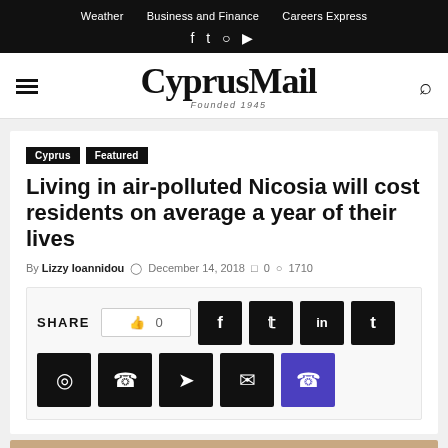Weather   Business and Finance   Careers Express
CyprusMail — Founded 1945
Cyprus   Featured
Living in air-polluted Nicosia will cost residents on average a year of their lives
By Lizzy Ioannidou   December 14, 2018   0   1710
SHARE  0  (social share buttons: Facebook, Twitter, LinkedIn, Tumblr, Reddit, WhatsApp, Telegram, Email, Viber)